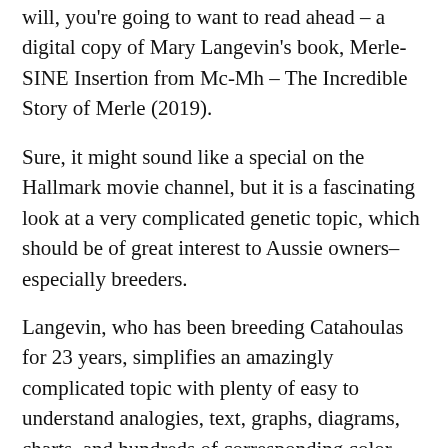will, you're going to want to read ahead – a digital copy of Mary Langevin's book, Merle-SINE Insertion from Mc-Mh – The Incredible Story of Merle (2019).
Sure, it might sound like a special on the Hallmark movie channel, but it is a fascinating look at a very complicated genetic topic, which should be of great interest to Aussie owners–especially breeders.
Langevin, who has been breeding Catahoulas for 23 years, simplifies an amazingly complicated topic with plenty of easy to understand analogies, text, graphs, diagrams, charts, and hundreds of corresponding color photographs.
That said, don't be fooled into thinking this book is oversimplified. Langevin takes an in-depth look at the history behind the findings and discovery of "Merle's